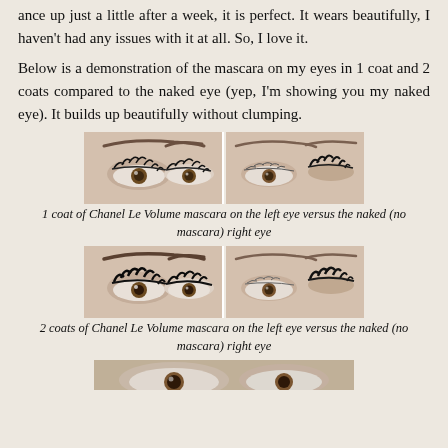ance up just a little after a week, it is perfect. It wears beautifully, I haven't had any issues with it at all. So, I love it.
Below is a demonstration of the mascara on my eyes in 1 coat and 2 coats compared to the naked eye (yep, I'm showing you my naked eye). It builds up beautifully without clumping.
[Figure (photo): Two side-by-side close-up photos of eyes: left eye with 1 coat of Chanel Le Volume mascara, right eye with no mascara (naked eye)]
1 coat of Chanel Le Volume mascara on the left eye versus the naked (no mascara) right eye
[Figure (photo): Two side-by-side close-up photos of eyes: left eye with 2 coats of Chanel Le Volume mascara, right eye with no mascara (naked eye)]
2 coats of Chanel Le Volume mascara on the left eye versus the naked (no mascara) right eye
[Figure (photo): Partial view of another eye comparison photo at the bottom of the page]